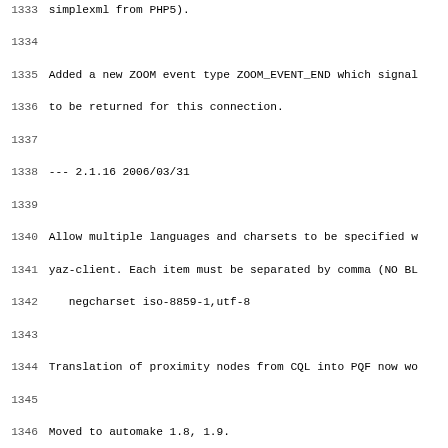1333  simplexml from PHP5).
1334
1335  Added a new ZOOM event type ZOOM_EVENT_END which signal
1336  to be returned for this connection.
1337
1338  --- 2.1.16 2006/03/31
1339
1340  Allow multiple languages and charsets to be specified w
1341  yaz-client. Each item must be separated by comma (NO BL
1342     negcharset iso-8859-1,utf-8
1343
1344  Translation of proximity nodes from CQL into PQF now wo
1345
1346  Moved to automake 1.8, 1.9.
1347
1348  Added function yaz_log_set_handler which allows a log h
1349  installed. This handler will be called for all log mess
1350  to file is also produced; but that can be disabled by p
1351  fname to yaz_log_init_file.
1352
1353  Fixed another problem with MARC-8 -> ISO-8859-1 convers
1354
1355  For SRW (including GFS), accept application/soap+xml as
1356  for SOAP msg.
1357
1358  For GFS in SRU mode, an empty stylesheet in SRU URL (&s
1359  produces NO stylesheet reference even if a default styl
1360  in GFS XML config.
1361
1362  --- 2.1.14 2006/03/14
1363
1364  Updated Windows package to include yazd.dll + yazd.lib
1365  ...